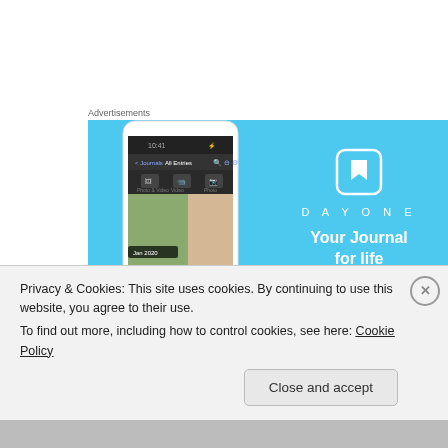Advertisements
[Figure (photo): DayOne app advertisement banner on light blue background. Shows a smartphone with the DayOne app interface on the left, and the DayOne logo with tagline 'Your Journal for life' on the right.]
I crawled into bed, full of the joy of being His...
completely unsure what to expect next, but
Privacy & Cookies: This site uses cookies. By continuing to use this website, you agree to their use.
To find out more, including how to control cookies, see here: Cookie Policy
Close and accept